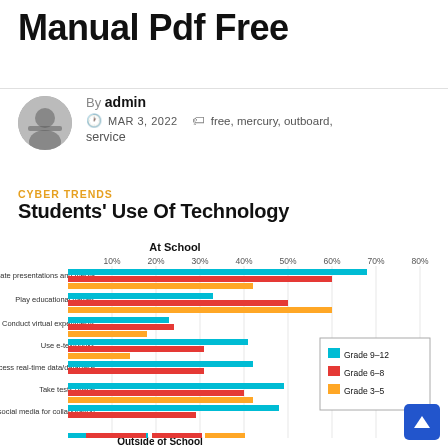Manual Pdf Free
By admin
MAR 3, 2022   free, mercury, outboard, service
CYBER TRENDS
Students' Use Of Technology
[Figure (grouped-bar-chart): At School]
Outside of School